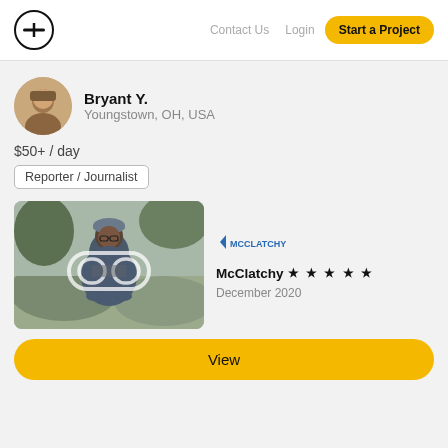Contact Us  Login  Start a Project
Bryant Y.
Youngstown, OH, USA
$50+ / day
Reporter / Journalist
[Figure (photo): Portfolio photo of Bryant Y. sitting outdoors on rocks wearing a blue jacket and cap, with a chain-link overlay icon]
McClatchy ★ ★ ★ ★ ★
December 2020
View